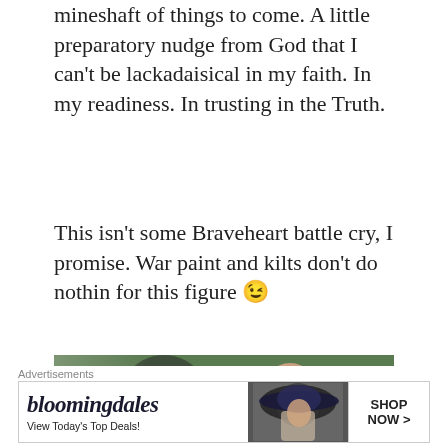mineshaft of things to come. A little preparatory nudge from God that I can't be lackadaisical in my faith. In my readiness. In trusting in the Truth.
This isn't some Braveheart battle cry, I promise. War paint and kilts don't do nothin for this figure 😉
[Figure (photo): Movie still from Braveheart showing William Wallace character with blue face paint and long hair, wearing leather armor, in action]
Advertisements — Bloomingdales: View Today's Top Deals! SHOP NOW >